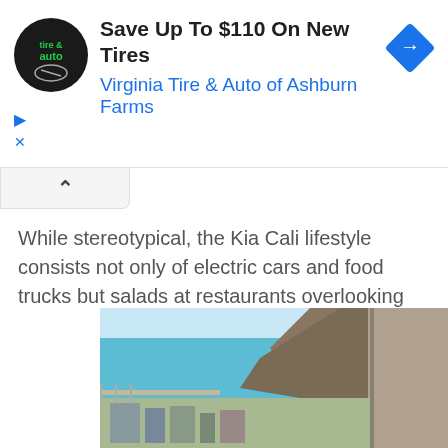[Figure (screenshot): Advertisement banner: Virginia Tire & Auto of Ashburn Farms — Save Up To $110 On New Tires, with circular logo and blue diamond arrow icon]
While stereotypical, the Kia Cali lifestyle consists not only of electric cars and food trucks but salads at restaurants overlooking the ocean.
We'll roll with that since it was a beautiful view and a delicious salad too!
[Figure (photo): Ocean view from a restaurant window, showing turquoise water, a rocky hillside, and a harbor below with buildings. A window frame is visible on the right side.]